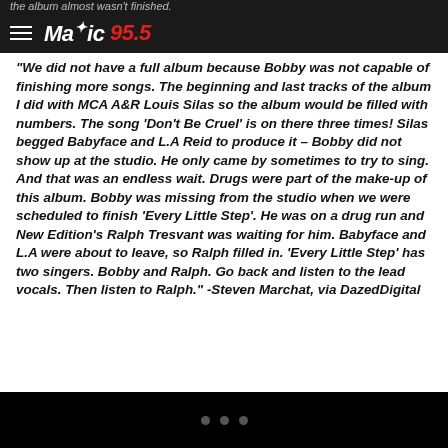Magic 95.5
“We did not have a full album because Bobby was not capable of finishing more songs. The beginning and last tracks of the album I did with MCA A&R Louis Silas so the album would be filled with numbers. The song ‘Don’t Be Cruel’ is on there three times! Silas begged Babyface and L.A Reid to produce it – Bobby did not show up at the studio. He only came by sometimes to try to sing. And that was an endless wait. Drugs were part of the make-up of this album. Bobby was missing from the studio when we were scheduled to finish ‘Every Little Step’. He was on a drug run and New Edition’s Ralph Tresvant was waiting for him. Babyface and L.A were about to leave, so Ralph filled in. ‘Every Little Step’ has two singers. Bobby and Ralph. Go back and listen to the lead vocals. Then listen to Ralph.” -Steven Marchat, via DazedDigital